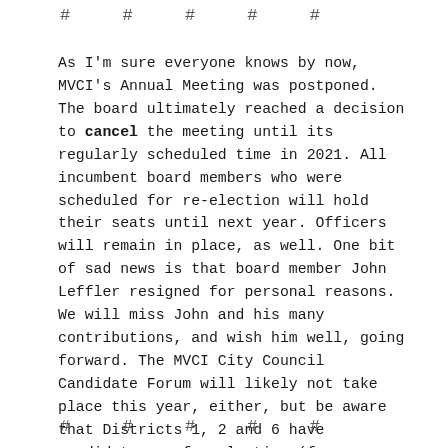# # # # #
As I'm sure everyone knows by now, MVCI's Annual Meeting was postponed. The board ultimately reached a decision to cancel the meeting until its regularly scheduled time in 2021. All incumbent board members who were scheduled for re-election will hold their seats until next year. Officers will remain in place, as well. One bit of sad news is that board member John Leffler resigned for personal reasons. We will miss John and his many contributions, and wish him well, going forward. The MVCI City Council Candidate Forum will likely not take place this year, either, but be aware that Districts 1, 2 and 6 have candidates up for election (four-year term), along with a two-year term for Mayor. Elections are scheduled for November 3.
# # # # #